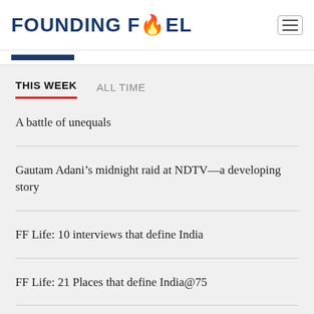FOUNDING FUEL
THIS WEEK   ALL TIME
A battle of unequals
Gautam Adani’s midnight raid at NDTV—a developing story
FF Life: 10 interviews that define India
FF Life: 21 Places that define India@75